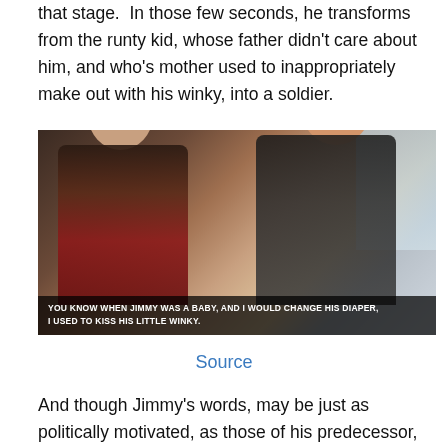that stage.  In those few seconds, he transforms from the runty kid, whose father didn't care about him, and who's mother used to inappropriately make out with his winky, into a soldier.
[Figure (screenshot): Film still showing two figures, one in a red top and one in a dark wrap dress, looking downward. Subtitle text reads: YOU KNOW WHEN JIMMY WAS A BABY, AND I WOULD CHANGE HIS DIAPER, I USED TO KISS HIS LITTLE WINKY.]
Source
And though Jimmy's words, may be just as politically motivated, as those of his predecessor, they ring true, in a